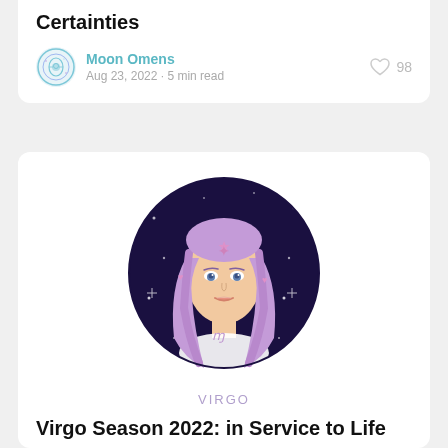Certainties
Moon Omens
Aug 23, 2022 · 5 min read
[Figure (illustration): Virgo zodiac illustration: a woman with purple hair and a star on her forehead, set against a dark circular starry background, with VIRGO text below]
Virgo Season 2022: in Service to Life
Moon Omens